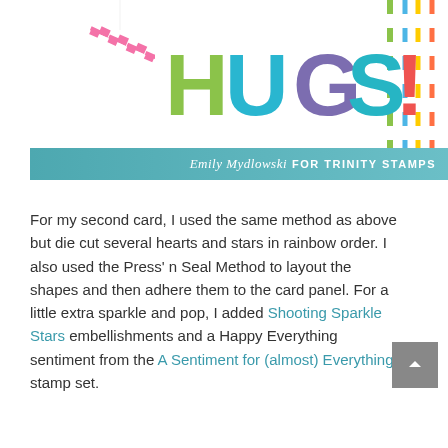[Figure (photo): A colorful greeting card with the word HUGS! in large rainbow-colored letters, partially visible at the top of the page, with decorative striped paper behind it.]
Emily Mydlowski FOR TRINITY STAMPS
For my second card, I used the same method as above but die cut several hearts and stars in rainbow order. I also used the Press' n Seal Method to layout the shapes and then adhere them to the card panel. For a little extra sparkle and pop, I added Shooting Sparkle Stars embellishments and a Happy Everything sentiment from the A Sentiment for (almost) Everything stamp set.